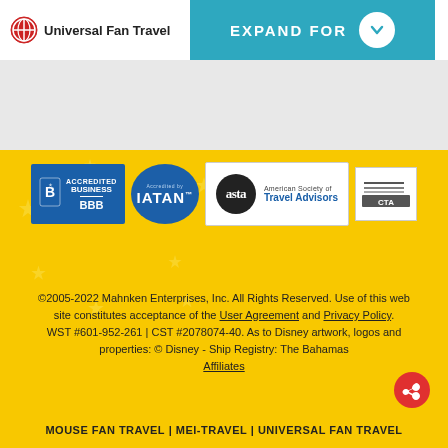[Figure (logo): Universal Fan Travel logo with circular red icon and text]
[Figure (infographic): Teal expand button bar with 'EXPAND FOR' text and white chevron circle]
[Figure (logo): BBB Accredited Business badge in blue]
[Figure (logo): IATAN Accredited circular badge in blue]
[Figure (logo): ASTA American Society of Travel Advisors badge]
[Figure (logo): CTA logo badge]
©2005-2022 Mahnken Enterprises, Inc. All Rights Reserved. Use of this web site constitutes acceptance of the User Agreement and Privacy Policy. WST #601-952-261 | CST #2078074-40. As to Disney artwork, logos and properties: © Disney - Ship Registry: The Bahamas Affiliates
MOUSE FAN TRAVEL | MEI-TRAVEL | UNIVERSAL FAN TRAVEL